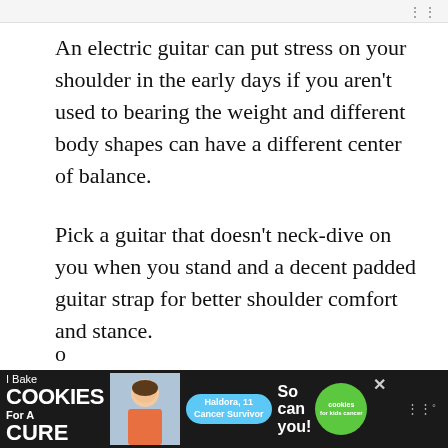An electric guitar can put stress on your shoulder in the early days if you aren't used to bearing the weight and different body shapes can have a different center of balance.
Pick a guitar that doesn't neck-dive on you when you stand and a decent padded guitar strap for better shoulder comfort and stance.
Fingering and holding guitar strings is going to be uncomfortable for a bit, your fingertips are going to suffer a little abuse at the hands of...
[Figure (photo): Advertisement banner: 'I Bake COOKIES For A CURE' with photo of a girl (Haldora, 11, Cancer Survivor) and 'So can you!' text with cookies for kids cancer logo]